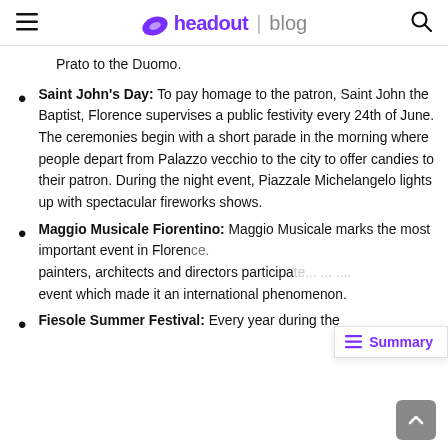headout | blog
Prato to the Duomo.
Saint John's Day: To pay homage to the patron, Saint John the Baptist, Florence supervises a public festivity every 24th of June. The ceremonies begin with a short parade in the morning where people depart from Palazzo vecchio to the city to offer candies to their patron. During the night event, Piazzale Michelangelo lights up with spectacular fireworks shows.
Maggio Musicale Fiorentino: Maggio Musicale marks the most important event in Florence. painters, architects and directors participate... event which made it an international phenomenon.
Fiesole Summer Festival: Every year during the...